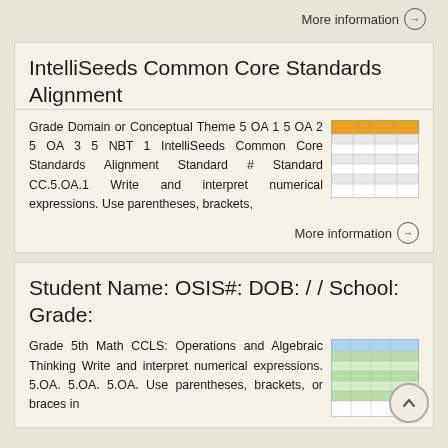More information →
IntelliSeeds Common Core Standards Alignment
Grade Domain or Conceptual Theme 5 OA 1 5 OA 2 5 OA 3 5 NBT 1 IntelliSeeds Common Core Standards Alignment Standard # Standard CC.5.OA.1 Write and interpret numerical expressions. Use parentheses, brackets,
[Figure (table-as-image): Thumbnail of IntelliSeeds Common Core Standards Alignment table with orange header row]
More information →
Student Name: OSIS#: DOB: / / School: Grade:
Grade 5th Math CCLS: Operations and Algebraic Thinking Write and interpret numerical expressions. 5.OA. 5.OA. 5.OA. Use parentheses, brackets, or braces in
[Figure (table-as-image): Thumbnail of Student Name grade sheet with green highlighted rows]